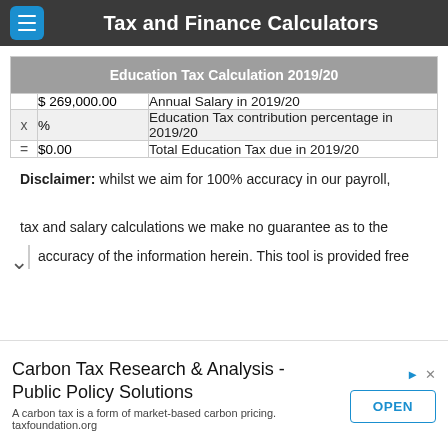Tax and Finance Calculators
| Education Tax Calculation 2019/20 |
| --- |
|  | $ 269,000.00 | Annual Salary in 2019/20 |
| x | % | Education Tax contribution percentage in 2019/20 |
| = | $0.00 | Total Education Tax due in 2019/20 |
Disclaimer: whilst we aim for 100% accuracy in our payroll, tax and salary calculations we make no guarantee as to the accuracy of the information herein. This tool is provided free
Carbon Tax Research & Analysis - Public Policy Solutions
A carbon tax is a form of market-based carbon pricing.
taxfoundation.org